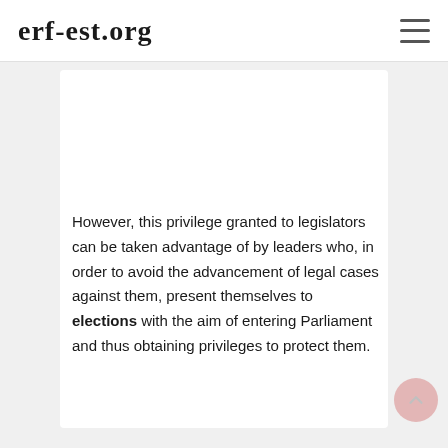erf-est.org
However, this privilege granted to legislators can be taken advantage of by leaders who, in order to avoid the advancement of legal cases against them, present themselves to elections with the aim of entering Parliament and thus obtaining privileges to protect them.